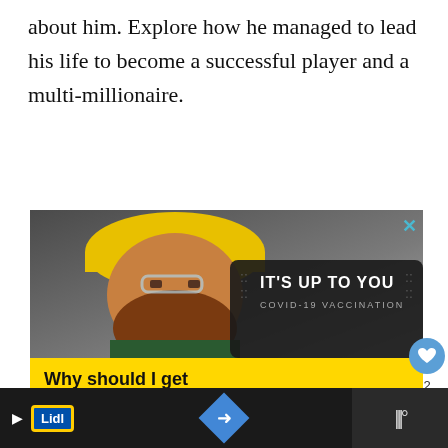about him. Explore how he managed to lead his life to become a successful player and a multi-millionaire.
[Figure (photo): Advertisement banner: A bearded man in a yellow hard hat and safety glasses with COVID-19 vaccination ad. Yellow banner reads 'Why should I get vaccinated? Getting immunized against COVID-19 will protect most people from getting sick or becoming seriously ill.' with GetVaccineAnswers.org CTA. The top photo section has a dark overlay with 'IT'S UP TO YOU COVID-19 VACCINATION' text. Close X button in top right.]
Why should I get vaccinated?
Getting immunized against COVID-19 will protect most people from getting sick or becoming seriously ill.
GetVaccineAnswers.org